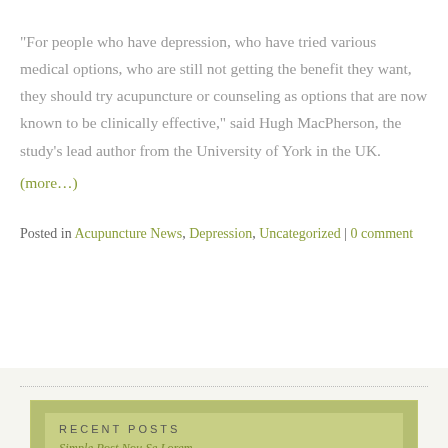“For people who have depression, who have tried various medical options, who are still not getting the benefit they want, they should try acupuncture or counseling as options that are now known to be clinically effective,” said Hugh MacPherson, the study’s lead author from the University of York in the UK.
(more…)
Posted in Acupuncture News, Depression, Uncategorized | 0 comment
RECENT POSTS
Simple Post Nou Se Lorem...